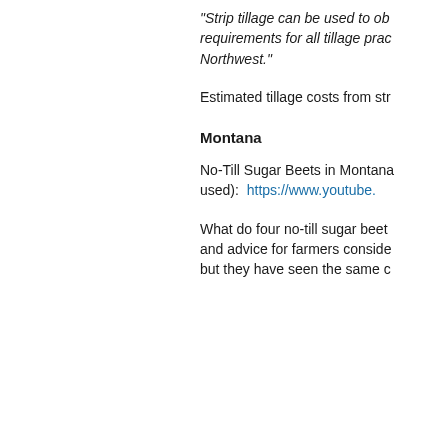“Strip tillage can be used to ob requirements for all tillage pra Northwest.”
Estimated tillage costs from str
Montana
No-Till Sugar Beets in Montana used):  https://www.youtube.
What do four no-till sugar beet and advice for farmers conside but they have seen the same c